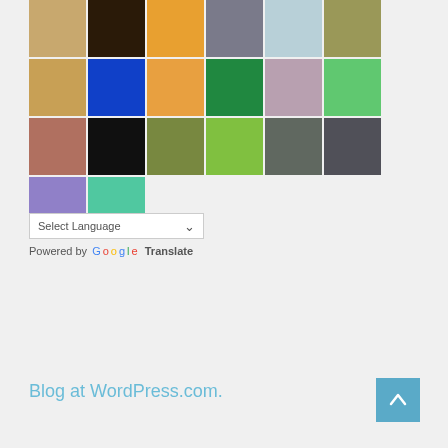[Figure (other): Grid of user avatar thumbnails showing various quilt-pattern avatars and profile photos]
Select Language
Powered by Google Translate
Blog at WordPress.com.